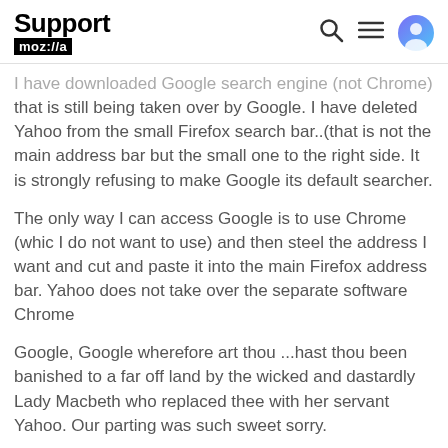Support mozilla://a
I have downloaded Google search engine (not Chrome), that is still being taken over by Google. I have deleted Yahoo from the small Firefox search bar..(that is not the main address bar but the small one to the right side. It is strongly refusing to make Google its default searcher.
The only way I can access Google is to use Chrome (which I do not want to use) and then steel the address I want and cut and paste it into the main Firefox address bar. Yahoo does not take over the separate software Chrome
Google, Google wherefore art thou ...hast thou been banished to a far off land by the wicked and dastardly Lady Macbeth who replaced thee with her servant Yahoo. Our parting was such sweet sorry.